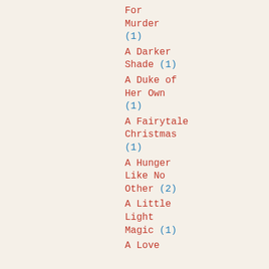For Murder (1)
A Darker Shade (1)
A Duke of Her Own (1)
A Fairytale Christmas (1)
A Hunger Like No Other (2)
A Little Light Magic (1)
A Love...